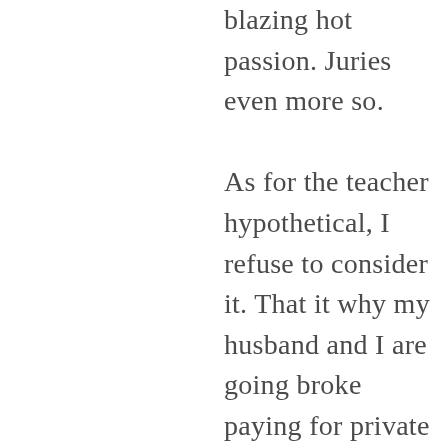blazing hot passion. Juries even more so.

As for the teacher hypothetical, I refuse to consider it. That it why my husband and I are going broke paying for private school. We are